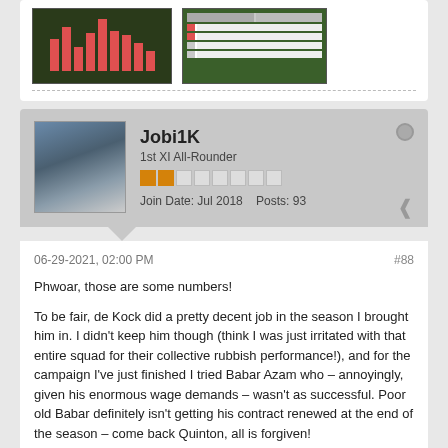[Figure (screenshot): Two screenshots: a bar chart with red bars on dark background, and a football manager game table interface on green background]
Jobi1K
1st XI All-Rounder
Join Date: Jul 2018   Posts: 93
06-29-2021, 02:00 PM
#88
Phwoar, those are some numbers!

To be fair, de Kock did a pretty decent job in the season I brought him in. I didn't keep him though (think I was just irritated with that entire squad for their collective rubbish performance!), and for the campaign I've just finished I tried Babar Azam who – annoyingly, given his enormous wage demands – wasn't as successful. Poor old Babar definitely isn't getting his contract renewed at the end of the season – come back Quinton, all is forgiven!
Likes  1